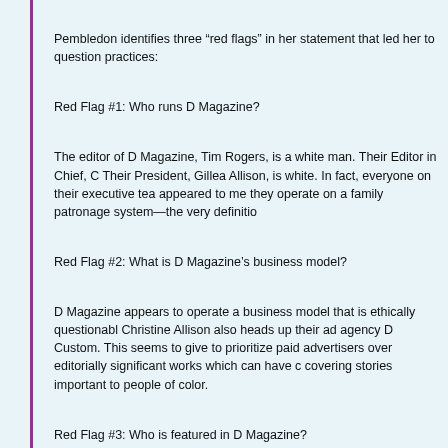Pembledon identifies three “red flags” in her statement that led her to question practices:
Red Flag #1: Who runs D Magazine?
The editor of D Magazine, Tim Rogers, is a white man. Their Editor in Chief, C Their President, Gillea Allison, is white. In fact, everyone on their executive tea appeared to me they operate on a family patronage system—the very definitio
Red Flag #2: What is D Magazine’s business model?
D Magazine appears to operate a business model that is ethically questionabl Christine Allison also heads up their ad agency D Custom. This seems to give to prioritize paid advertisers over editorially significant works which can have c covering stories important to people of color.
Red Flag #3: Who is featured in D Magazine?